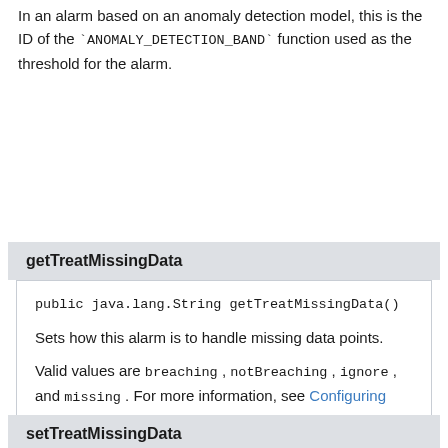In an alarm based on an anomaly detection model, this is the ID of the `ANOMALY_DETECTION_BAND` function used as the threshold for the alarm.
getTreatMissingData
public java.lang.String getTreatMissingData()
Sets how this alarm is to handle missing data points.
Valid values are breaching , notBreaching , ignore , and missing . For more information, see Configuring How CloudWatch Alarms Treat Missing Data in the Amazon CloudWatch User Guide .
If you omit this parameter, the default behavior of missing is used.
setTreatMissingData